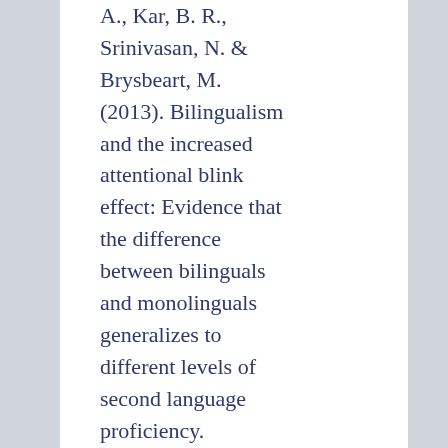A., Kar, B. R., Srinivasan, N. & Brysbeart, M. (2013). Bilingualism and the increased attentional blink effect: Evidence that the difference between bilinguals and monolinguals generalizes to different levels of second language proficiency. Psychological Research, 77, 728-737.
Kar, B. R. (Editor). (2013). Cognition...